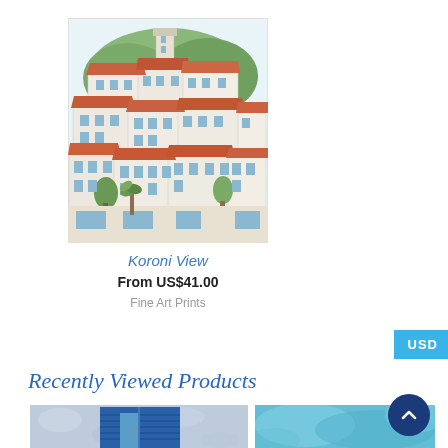[Figure (illustration): Watercolor illustration of Koroni village with terracotta roofed white buildings stacked on hillside with green trees and a tower in background]
Koroni View
From US$41.00
Fine Art Prints
USD
Recently Viewed Products
[Figure (photo): Photo of blue shuttered window/door on whitewashed blue-grey wall]
[Figure (illustration): Watercolor wash in turquoise/blue tones]